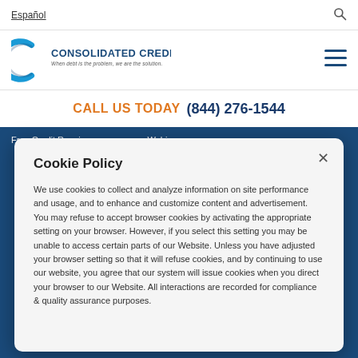Español | [search icon]
[Figure (logo): Consolidated Credit logo — stylized C arc with company name 'Consolidated Credit' and tagline 'When debt is the problem, we are the solution.']
CALL US TODAY  (844) 276-1544
Free Credit Repair    Webinars
Cookie Policy
We use cookies to collect and analyze information on site performance and usage, and to enhance and customize content and advertisement. You may refuse to accept browser cookies by activating the appropriate setting on your browser. However, if you select this setting you may be unable to access certain parts of our Website. Unless you have adjusted your browser setting so that it will refuse cookies, and by continuing to use our website, you agree that our system will issue cookies when you direct your browser to our Website. All interactions are recorded for compliance & quality assurance purposes.